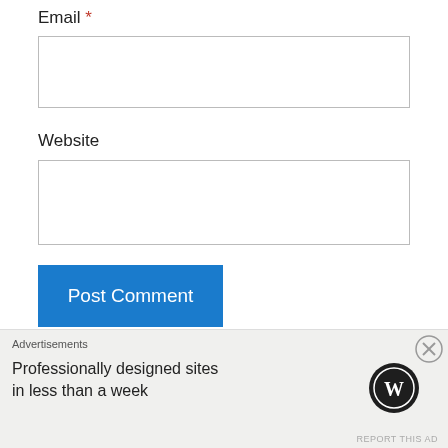Email *
[Figure (other): Empty email input text field]
Website
[Figure (other): Empty website input text field]
Post Comment
Notify me of new comments via email.
Notify me of new posts via email.
This site uses Akismet to reduce spam. Learn how your
Advertisements
Professionally designed sites in less than a week
REPORT THIS AD